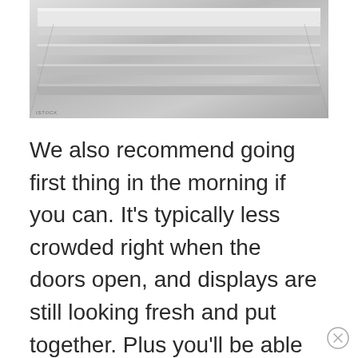[Figure (photo): Close-up photo of what appears to be stacked metallic or glass trays/displays, possibly merchandise display cases, viewed from an angle.]
We also recommend going first thing in the morning if you can. It's typically less crowded right when the doors open, and displays are still looking fresh and put together. Plus you'll be able to zip right through the store and checkout when there are fewer people shopping. Save time, beat the crowds, and leave with some awesome items...sounds like a gameplan!